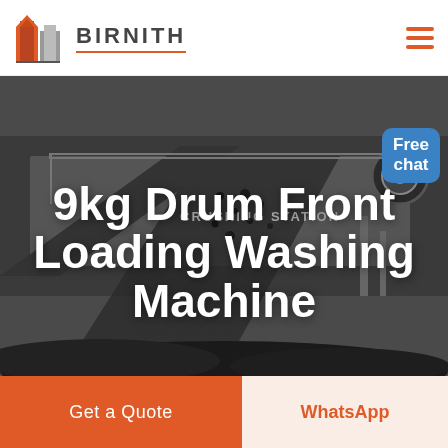BIRNITH
[Figure (photo): Industrial crushing station machine with conveyor belt dumping coal/rock material, dark moody background photo used as hero image]
9kg Drum Front Loading Washing Machine
Free chat
Get a Quote
WhatsApp